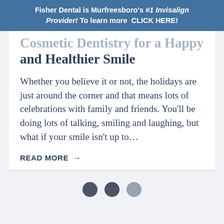Fisher Dental is Murfreesboro's #1 Invisalign Provider! To learn more CLICK HERE!
Cosmetic Dentistry for a Happy and Healthier Smile
Whether you believe it or not, the holidays are just around the corner and that means lots of celebrations with family and friends. You'll be doing lots of talking, smiling and laughing, but what if your smile isn't up to…
READ MORE →